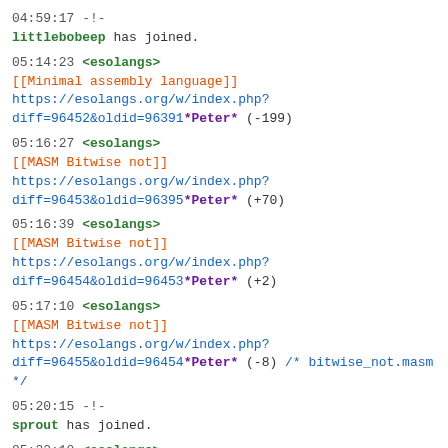04:59:17 -!- littlebobeep has joined.
05:14:23 <esolangs> [[Minimal assembly language]] https://esolangs.org/w/index.php?diff=96452&oldid=96391*Peter* (-199)
05:16:27 <esolangs> [[MASM Bitwise not]]  https://esolangs.org/w/index.php?diff=96453&oldid=96395*Peter* (+70)
05:16:39 <esolangs> [[MASM Bitwise not]]  https://esolangs.org/w/index.php?diff=96454&oldid=96453*Peter* (+2)
05:17:10 <esolangs> [[MASM Bitwise not]]  https://esolangs.org/w/index.php?diff=96455&oldid=96454*Peter* (-8) /* bitwise_not.masm */
05:20:15 -!- sprout has joined.
05:22:10 <esolangs> [[MASM Bitwise and]]  https://esolangs.org/w/index.php?diff=96456&oldid=96396*Peter* (+150)
05:23:13 <esolangs> [[Minimal assembly language]] https://esolangs.org/w/index.php?diff=96457&oldid=96452*Peter* (+37) /* Bitwise operators */